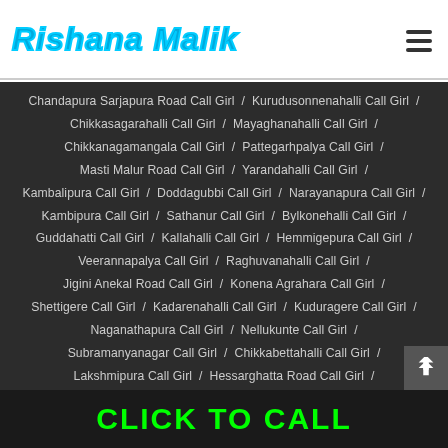Rishana Malik
Chandapura Sarjapura Road Call Girl / Kurudusonnenahalli Call Girl / Chikkasagarahalli Call Girl / Mayaghanahalli Call Girl / Chikkanagamangala Call Girl / Pattegarhpalya Call Girl / Masti Malur Road Call Girl / Yarandahalli Call Girl / Kambalipura Call Girl / Doddagubbi Call Girl / Narayanapura Call Girl / Kambipura Call Girl / Sathanur Call Girl / Bylkonehalli Call Girl / Guddahatti Call Girl / Kallahalli Call Girl / Hemmigepura Call Girl / Veerannapalya Call Girl / Raghuvanahalli Call Girl / Jigini Anekal Road Call Girl / Konena Agrahara Call Girl / Shettigere Call Girl / Kadarenahalli Call Girl / Kuduragere Call Girl / Naganathapura Call Girl / Nellukunte Call Girl / Subramanyanagar Call Girl / Chikkabettahalli Call Girl / Lakshmipura Call Girl / Hessarghatta Road Call Girl /
CLICK TO CALL